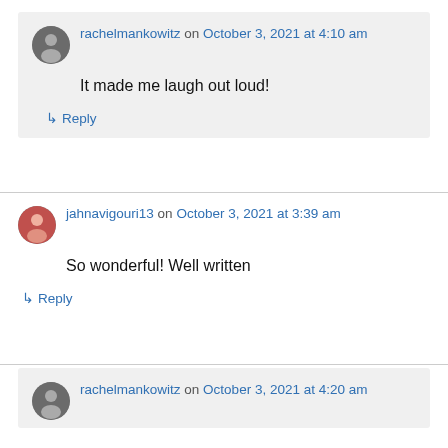rachelmankowitz on October 3, 2021 at 4:10 am
It made me laugh out loud!
↳ Reply
jahnavigouri13 on October 3, 2021 at 3:39 am
So wonderful! Well written
↳ Reply
rachelmankowitz on October 3, 2021 at 4:20 am